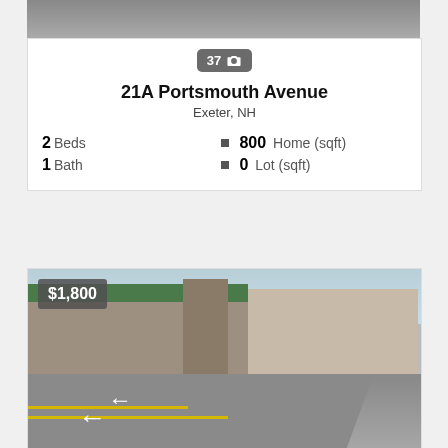[Figure (photo): Top portion of a property listing photo (partially cropped gray/dark image)]
37 [camera icon]
21A Portsmouth Avenue
Exeter, NH
2 Beds | 800 Home (sqft)
1 Bath | 0 Lot (sqft)
[Figure (photo): Exterior photo of a commercial property at 92 Portsmouth Avenue showing a strip mall / plaza with parking lot, green roof canopy, flagpole, and signage. Price badge shows $1,800.]
1 [camera icon]
92 Portsmouth Avenue
Exeter, NH